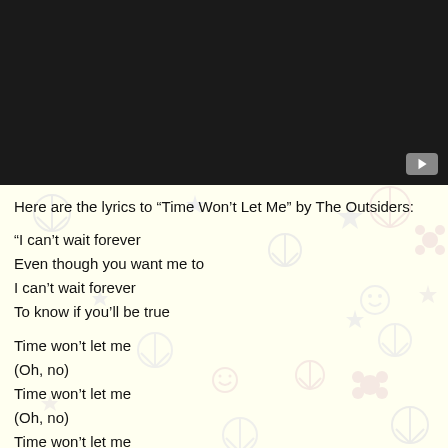[Figure (screenshot): Dark/black video player bar at the top of the page with a YouTube play button icon in the bottom-right corner]
Here are the lyrics to “Time Won’t Let Me” by The Outsiders:
“I can’t wait forever
Even though you want me to
I can’t wait forever
To know if you’ll be true
Time won’t let me
(Oh, no)
Time won’t let me
(Oh, no)
Time won’t let me
Wait that long